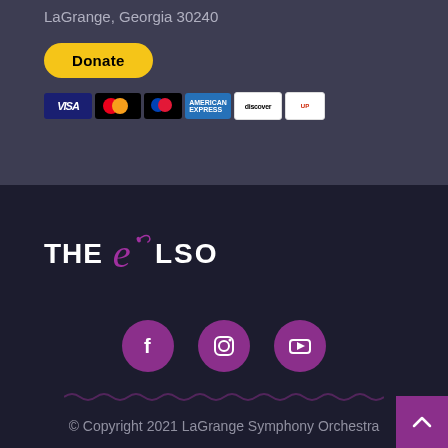LaGrange, Georgia 30240
[Figure (other): PayPal Donate button with payment card icons (Visa, Mastercard, Maestro, American Express, Discover, UnionPay)]
[Figure (logo): The LSO (LaGrange Symphony Orchestra) logo with stylized cursive 'e' in purple]
[Figure (other): Social media icons: Facebook, Instagram, YouTube — all in purple circles]
© Copyright 2021 LaGrange Symphony Orchestra